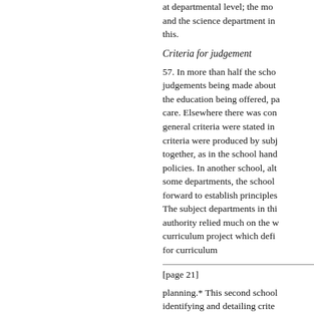at departmental level; the mo and the science department in this.
Criteria for judgement
57. In more than half the scho judgements being made about the education being offered, pa care. Elsewhere there was con general criteria were stated in criteria were produced by subj together, as in the school hand policies. In another school, alt some departments, the school forward to establish principles The subject departments in thi authority relied much on the w curriculum project which defi for curriculum
[page 21]
planning.* This second school identifying and detailing crite